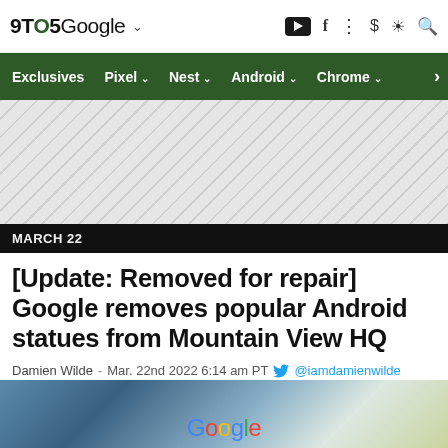9TO5Google
Exclusives | Pixel | Nest | Android | Chrome
[Figure (other): Advertisement placeholder area with diagonal stripe pattern]
MARCH 22
[Update: Removed for repair] Google removes popular Android statues from Mountain View HQ
Damien Wilde - Mar. 22nd 2022 6:14 am PT @iamdamienwilde
[Figure (photo): Bottom strip showing Google headquarters building exterior with Google logo text visible]